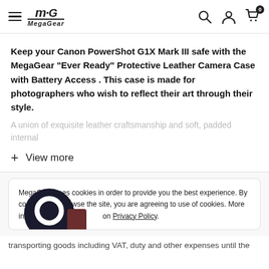MegaGear - navigation header with hamburger menu, logo, search, account, and cart icons
Keep your Canon PowerShot G1X Mark III safe with the MegaGear "Ever Ready" Protective Leather Camera Case with Battery Access . This case is made for photographers who wish to reflect their art through their style.
A union of exquisite leather craftsmanship and soft, padded internal
+ View more
MegaGear uses cookies in order to provide you the best experience. By continuing to browse the site, you are agreeing to use of cookies. More information about cookies on Privacy Policy.
transporting goods including VAT, duty and other expenses until the